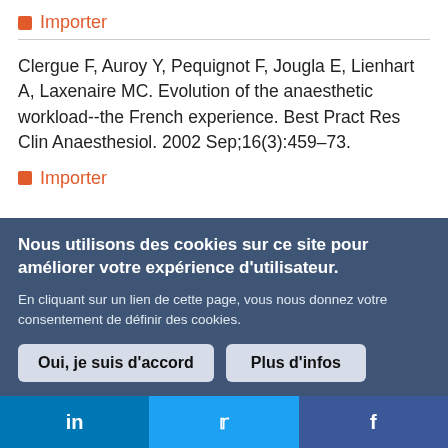Importer
Clergue F, Auroy Y, Pequignot F, Jougla E, Lienhart A, Laxenaire MC. Evolution of the anaesthetic workload--the French experience. Best Pract Res Clin Anaesthesiol. 2002 Sep;16(3):459–73.
Importer
Nous utilisons des cookies sur ce site pour améliorer votre expérience d'utilisateur.

En cliquant sur un lien de cette page, vous nous donnez votre consentement de définir des cookies.
Oui, je suis d'accord | Plus d'infos